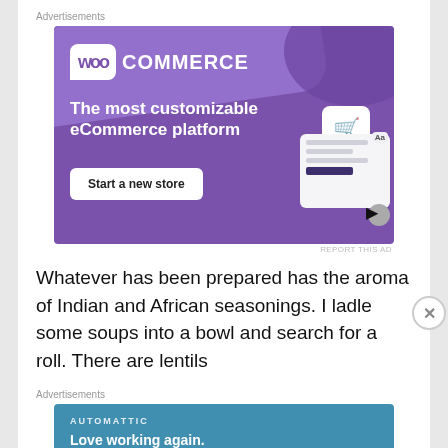Advertisements
[Figure (illustration): WooCommerce advertisement banner with purple background. Shows WooCommerce logo, tagline 'The most customizable eCommerce platform', a 'Start a new store' button, and a UI mockup on the right side.]
REPORT THIS AD
Whatever has been prepared has the aroma of Indian and African seasonings. I ladle some soups into a bowl and search for a roll. There are lentils
Advertisements
[Figure (illustration): Automattic advertisement banner with teal/blue background. Shows 'AUTOMATTIC' brand name and tagline 'Love working again.']
REPORT THIS AD